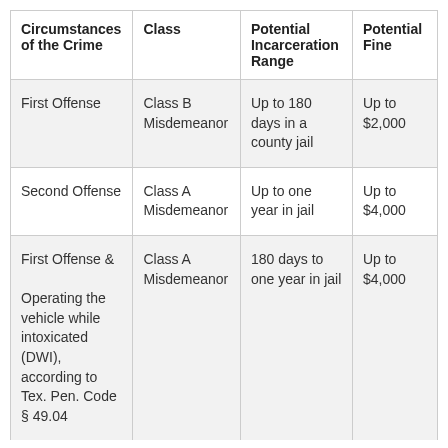| Circumstances of the Crime | Class | Potential Incarceration Range | Potential Fine |
| --- | --- | --- | --- |
| First Offense | Class B Misdemeanor | Up to 180 days in a county jail | Up to $2,000 |
| Second Offense | Class A Misdemeanor | Up to one year in jail | Up to $4,000 |
| First Offense &

Operating the vehicle while intoxicated (DWI), according to Tex. Pen. Code § 49.04 | Class A Misdemeanor | 180 days to one year in jail | Up to $4,000 |